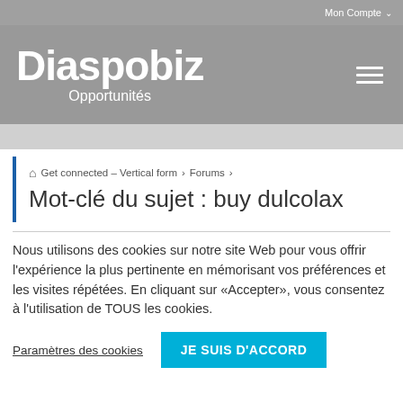Mon Compte
Diaspobiz Opportunités
Get connected – Vertical form › Forums ›
Mot-clé du sujet : buy dulcolax
Nous utilisons des cookies sur notre site Web pour vous offrir l'expérience la plus pertinente en mémorisant vos préférences et les visites répétées. En cliquant sur «Accepter», vous consentez à l'utilisation de TOUS les cookies.
Paramètres des cookies   JE SUIS D'ACCORD